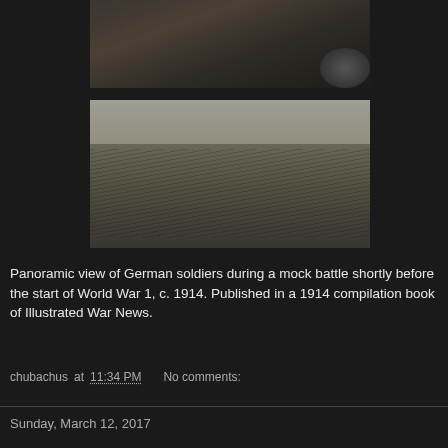[Figure (photo): Partial view of the top historical photo showing German soldiers, cropped at top of page]
[Figure (photo): Panoramic historical photo showing German soldiers advancing in formation across an open field during a mock battle, c. 1914]
Panoramic view of German soldiers during a mock battle shortly before the start of World War 1, c. 1914. Published in a 1914 compilation book of Illustrated War News.
chubachus at 11:34 PM    No comments:
Sunday, March 12, 2017